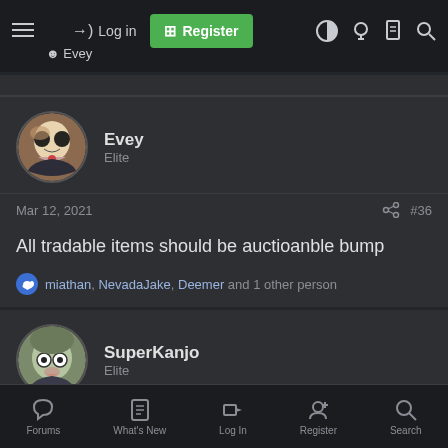Log in | Register | Evey
Evey
Elite
Mar 12, 2021  #36
All tradable items should be auctioanble bump
miathan, NevadaJake, Deemer and 1 other person
SuperKanjo
Elite
Mar 12, 2021  #37
Forums  What's New  Log In  Register  Search